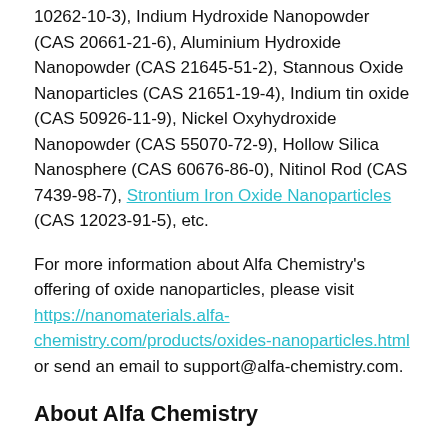10262-10-3), Indium Hydroxide Nanopowder (CAS 20661-21-6), Aluminium Hydroxide Nanopowder (CAS 21645-51-2), Stannous Oxide Nanoparticles (CAS 21651-19-4), Indium tin oxide (CAS 50926-11-9), Nickel Oxyhydroxide Nanopowder (CAS 55070-72-9), Hollow Silica Nanosphere (CAS 60676-86-0), Nitinol Rod (CAS 7439-98-7), Strontium Iron Oxide Nanoparticles (CAS 12023-91-5), etc.
For more information about Alfa Chemistry's offering of oxide nanoparticles, please visit https://nanomaterials.alfa-chemistry.com/products/oxides-nanoparticles.html or send an email to support@alfa-chemistry.com.
About Alfa Chemistry
Ever since its establishment, Alfa Chemistry has aimed to serve its customers by bringing them the best quality chemicals and materials. At the forefront of innovation, the company continues enriching its product lines and expands its offering to catalysts, metal materials, graphenes, nanomaterials, functional polymers, lipids, and many more items.